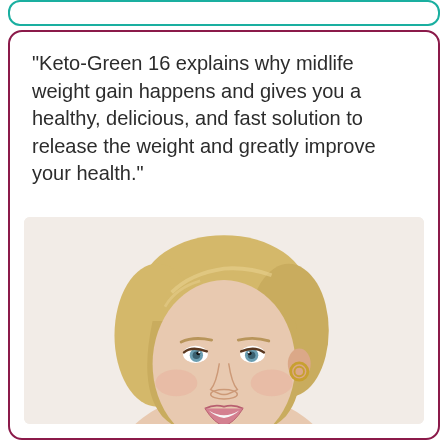“Keto-Green 16 explains why midlife weight gain happens and gives you a healthy, delicious, and fast solution to release the weight and greatly improve your health.”
[Figure (photo): Professional headshot of a smiling middle-aged blonde woman with short hair, wearing a pink/mauve top, with gold hoop earrings, photographed against a light beige background.]